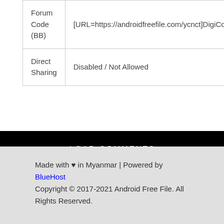| Forum Code (BB) | [URL=https://androidfreefile.com/ycnct]DigiCom_FRP_Tool_v1.1.zip[/URL] |
| Direct Sharing | Disabled / Not Allowed |
LOAD COMMENTS
Made with ♥ in Myanmar | Powered by BlueHost
Copyright © 2017-2021 Android Free File. All Rights Reserved.